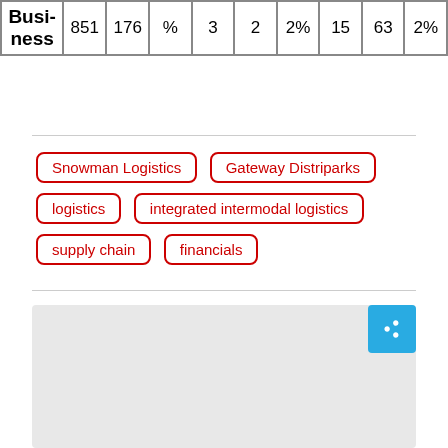| Busi-
ness | 851 | 176 | % | 3 | 2 | 2% | 15 | 63 | 2% |
Snowman Logistics
Gateway Distriparks
logistics
integrated intermodal logistics
supply chain
financials
[Figure (other): Gray placeholder image block with a share button in the top-right corner]